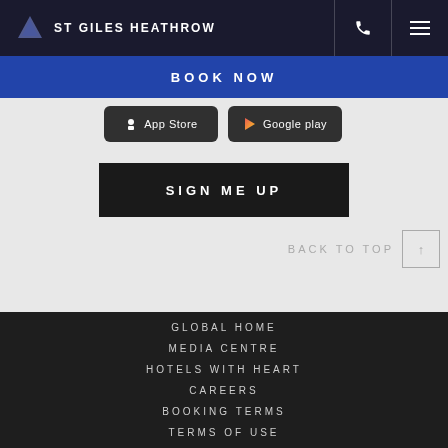ST GILES HEATHROW
BOOK NOW
[Figure (screenshot): App Store and Google Play download buttons]
SIGN ME UP
BACK TO TOP
GLOBAL HOME
MEDIA CENTRE
HOTELS WITH HEART
CAREERS
BOOKING TERMS
TERMS OF USE